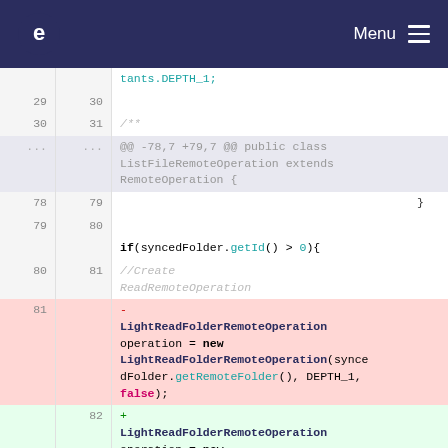e  Menu
[Figure (screenshot): Code diff view showing changes to ListFileRemoteOperation Java class. Lines 29-31 show context, ellipsis for skipped lines, lines 78-82 show closing brace, if(syncedFolder.getId() > 0) block, and a removed line 81 with LightReadFolderRemoteOperation replaced by an added line 82 with the same class.]